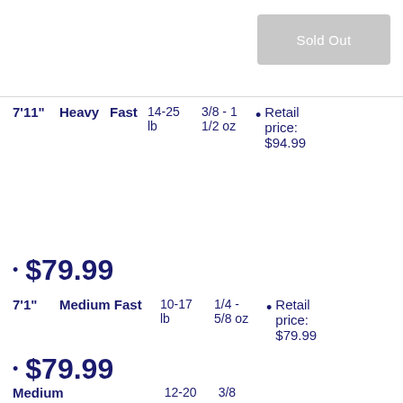Sold Out
| Length | Power | Action | Line | Lure | Details |
| --- | --- | --- | --- | --- | --- |
| 7'11" | Heavy | Fast | 14-25 lb | 3/8 - 1 1/2 oz | Retail price: $94.99 • $79.99 |
| 7'1" | Medium Fast |  | 10-17 lb | 1/4 - 5/8 oz | Retail price: $79.99 • $79.99 |
| Medium |  |  | 12-20 | 3/8 |  |